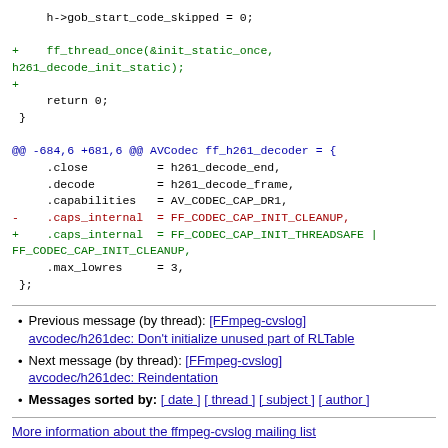h->gob_start_code_skipped = 0;

+    ff_thread_once(&init_static_once,
h261_decode_init_static);
+
     return 0;
 }

@@ -684,6 +681,6 @@ AVCodec ff_h261_decoder = {
     .close          = h261_decode_end,
     .decode         = h261_decode_frame,
     .capabilities   = AV_CODEC_CAP_DR1,
-    .caps_internal  = FF_CODEC_CAP_INIT_CLEANUP,
+    .caps_internal  = FF_CODEC_CAP_INIT_THREADSAFE |
FF_CODEC_CAP_INIT_CLEANUP,
     .max_lowres     = 3,
 };
Previous message (by thread): [FFmpeg-cvslog] avcodec/h261dec: Don't initialize unused part of RLTable
Next message (by thread): [FFmpeg-cvslog] avcodec/h261dec: Reindentation
Messages sorted by: [ date ] [ thread ] [ subject ] [ author ]
More information about the ffmpeg-cvslog mailing list